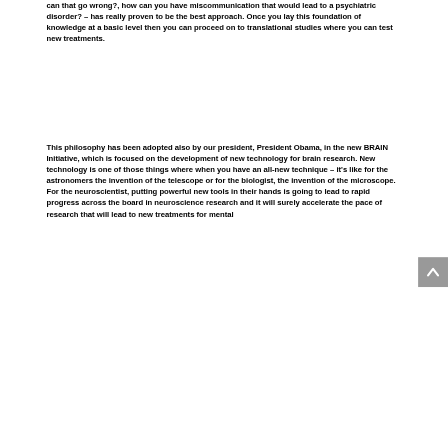can that go wrong?, how can you have miscommunication that would lead to a psychiatric disorder? – has really proven to be the best approach. Once you lay this foundation of knowledge at a basic level then you can proceed on to translational studies where you can test new treatments.
This philosophy has been adopted also by our president, President Obama, in the new BRAIN Initiative, which is focused on the development of new technology for brain research. New technology is one of those things where when you have an all-new technique – it's like for the astronomers the invention of the telescope or for the biologist, the invention of the microscope. For the neuroscientist, putting powerful new tools in their hands is going to lead to rapid progress across the board in neuroscience research and it will surely accelerate the pace of research that will lead to new treatments for mental